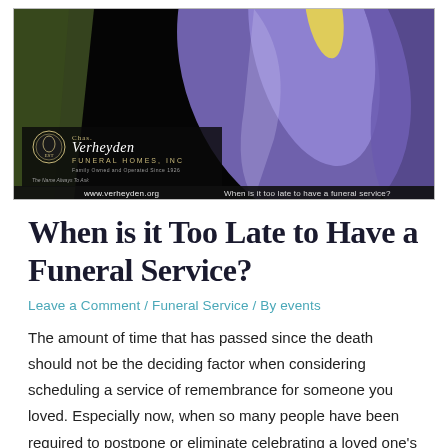[Figure (illustration): Funeral home advertisement banner showing a close-up of a purple iris flower on black background with Chas. Verheyden Funeral Homes, Inc. logo on lower left, website www.verheyden.org at the bottom left, and text 'When is it too late to have a funeral service?' at the bottom right.]
When is it Too Late to Have a Funeral Service?
Leave a Comment / Funeral Service / By events
The amount of time that has passed since the death should not be the deciding factor when considering scheduling a service of remembrance for someone you loved. Especially now, when so many people have been required to postpone or eliminate celebrating a loved one's life because of the pandemic. Instead of